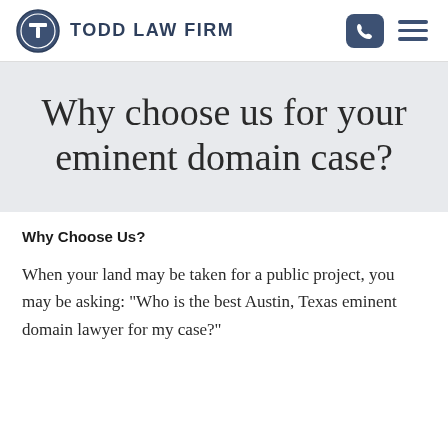TODD LAW FIRM
Why choose us for your eminent domain case?
Why Choose Us?
When your land may be taken for a public project, you may be asking: "Who is the best Austin, Texas eminent domain lawyer for my case?"